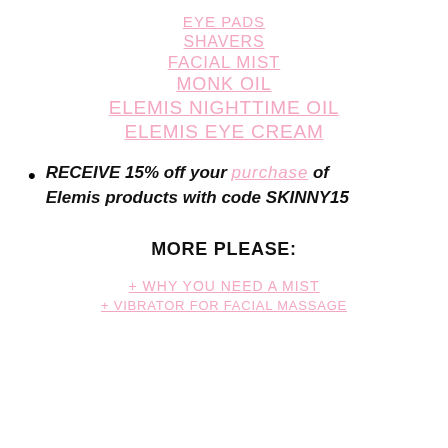EYE PADS
SHAVERS
FACIAL MIST
MONK OIL
ELEMIS NIGHTTIME OIL
ELEMIS EYE CREAM
RECEIVE 15% off your purchase of Elemis products with code SKINNY15
MORE PLEASE:
+ WHY YOU NEED A MIST
+ VIBRATOR FOR FACIAL MASSAGE